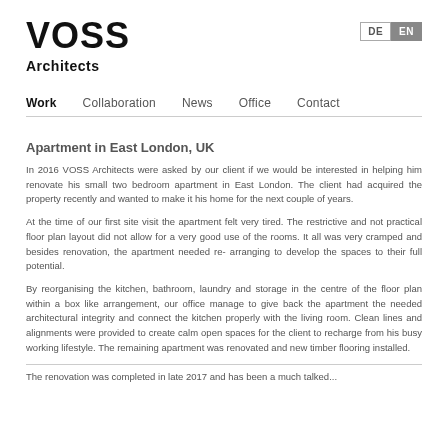VOSS Architects
DE  EN
Work  Collaboration  News  Office  Contact
Apartment in East London, UK
In 2016 VOSS Architects were asked by our client if we would be interested in helping him renovate his small two bedroom apartment in East London. The client had acquired the property recently and wanted to make it his home for the next couple of years.
At the time of our first site visit the apartment felt very tired. The restrictive and not practical floor plan layout did not allow for a very good use of the rooms. It all was very cramped and besides renovation, the apartment needed re- arranging to develop the spaces to their full potential.
By reorganising the kitchen, bathroom, laundry and storage in the centre of the floor plan within a box like arrangement, our office manage to give back the apartment the needed architectural integrity and connect the kitchen properly with the living room. Clean lines and alignments were provided to create calm open spaces for the client to recharge from his busy working lifestyle. The remaining apartment was renovated and new timber flooring installed.
The renovation was completed in late 2017 and has been a much talked...